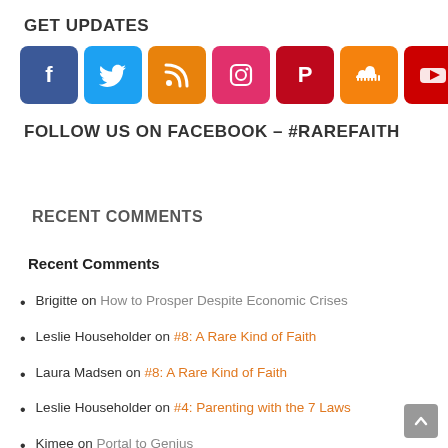GET UPDATES
[Figure (infographic): Row of 7 social media icon buttons: Facebook (blue), Twitter (light blue), RSS (orange), Instagram (red-pink), Pinterest (dark red), SoundCloud (orange), YouTube (red)]
FOLLOW US ON FACEBOOK – #RAREFAITH
RECENT COMMENTS
Recent Comments
Brigitte on How to Prosper Despite Economic Crises
Leslie Householder on #8: A Rare Kind of Faith
Laura Madsen on #8: A Rare Kind of Faith
Leslie Householder on #4: Parenting with the 7 Laws
Kimee on Portal to Genius